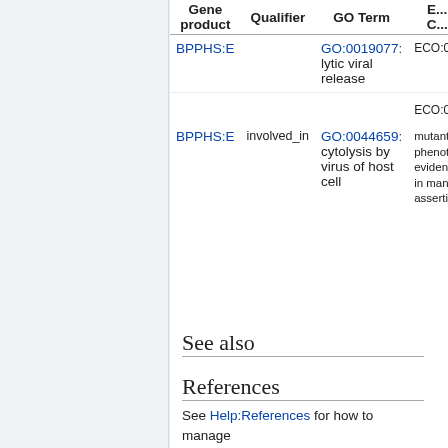| Gene product | Qualifier | GO Term | EC... |
| --- | --- | --- | --- |
| BPPHS:E |  | GO:0019077: lytic viral release | ECO:0... |
| BPPHS:E | involved_in | GO:0044659: cytolysis by virus of host cell | ECO:0... mutant phenot... eviden... in man... asserti... |
See also
References
See Help:References for how to manage references in GONUTS.